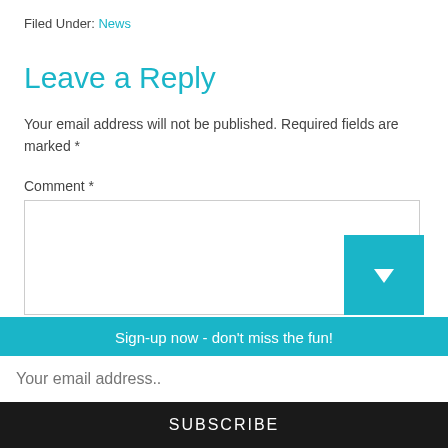Filed Under: News
Leave a Reply
Your email address will not be published. Required fields are marked *
Comment *
Sign-up now - don't miss the fun!
Your email address..
SUBSCRIBE